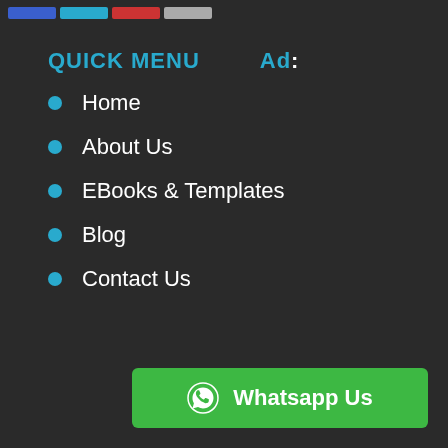[Figure (screenshot): Top navigation bar with four colored buttons: blue, cyan, red, gray]
QUICK MENU   Ad:
Home
About Us
EBooks & Templates
Blog
Contact Us
[Figure (other): WhatsApp Us button with WhatsApp icon, green background]